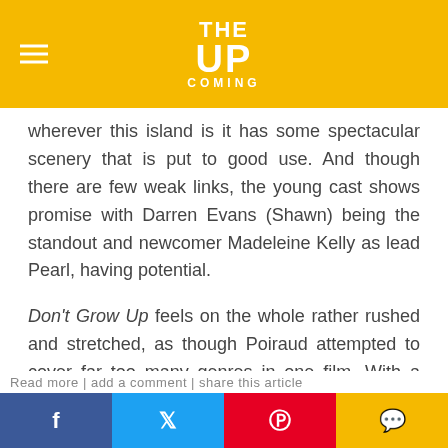THE UP COMING
wherever this island is it has some spectacular scenery that is put to good use. And though there are few weak links, the young cast shows promise with Darren Evans (Shawn) being the standout and newcomer Madeleine Kelly as lead Pearl, having potential.
Don't Grow Up feels on the whole rather rushed and stretched, as though Poiraud attempted to cover far too many genres in one film. With a decent script and a better considered plot, perhaps it could have been excellent.
★★☆☆☆
Natasha Furlong
Share links: Facebook, Twitter, Pinterest, Comment